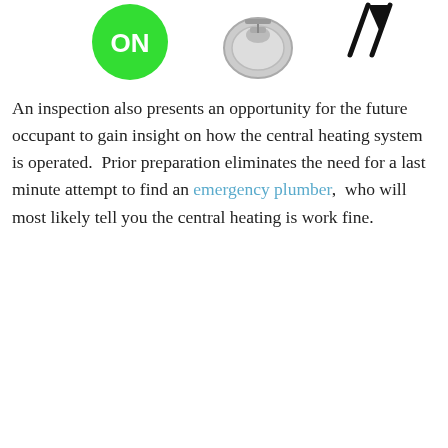[Figure (illustration): Three icons in a row at top: a green circle with white text 'ON', a grey circular gauge/meter device, and a black abstract flame/plumber symbol on the right (partially cropped).]
An inspection also presents an opportunity for the future occupant to gain insight on how the central heating system is operated.  Prior preparation eliminates the need for a last minute attempt to find an emergency plumber,  who will most likely tell you the central heating is work fine.